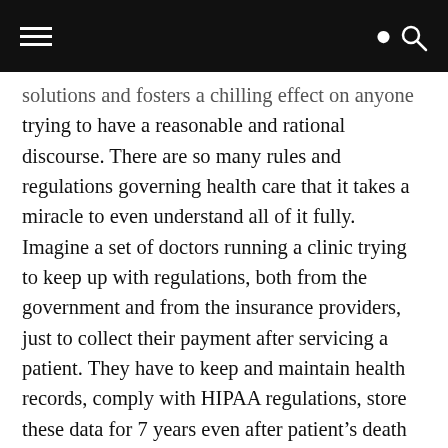[hamburger menu] [search icon]
solutions and fosters a chilling effect on anyone trying to have a reasonable and rational discourse. There are so many rules and regulations governing health care that it takes a miracle to even understand all of it fully. Imagine a set of doctors running a clinic trying to keep up with regulations, both from the government and from the insurance providers, just to collect their payment after servicing a patient. They have to keep and maintain health records, comply with HIPAA regulations, store these data for 7 years even after patient's death or leaving their clinic, spend on expensive software to submit claims and understand thousands of charge codes that can drastically change how much money they would get for the service they provide. We have built a whole